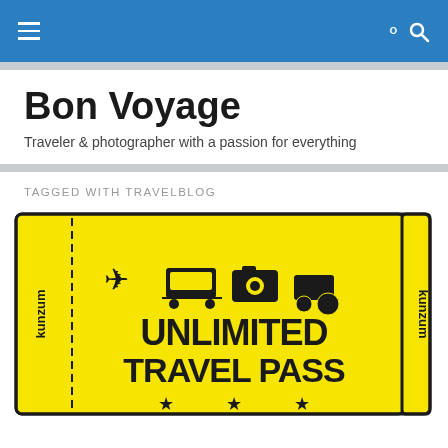Navigation bar with hamburger menu and search icon
Bon Voyage
Traveler & photographer with a passion for everything
TAGGED WITH TRAVELBLOG
[Figure (illustration): Yellow ticket with black border showing 'UNLIMITED TRAVEL PASS' text, transport icons (plane, tram, camera, tractor), dashed divider lines, zigzag right edge, and 'kunzum' text rotated vertically on both sides, with three stars at the bottom.]